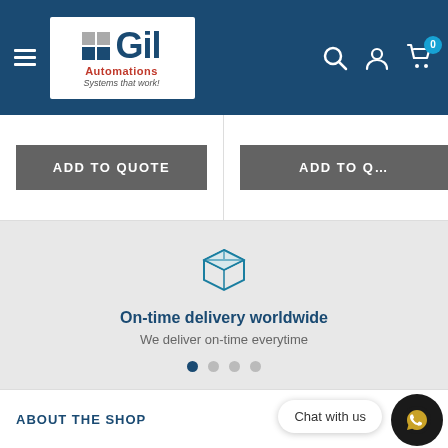[Figure (screenshot): Gil Automations website header with logo, hamburger menu, search, user and cart icons on dark blue background]
ADD TO QUOTE
ADD TO Q…
[Figure (illustration): Box/package icon outline in teal/blue color representing delivery]
On-time delivery worldwide
We deliver on-time everytime
Chat with us
ABOUT THE SHOP